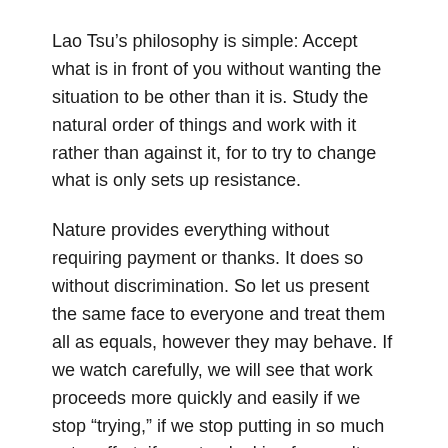Lao Tsu’s philosophy is simple: Accept what is in front of you without wanting the situation to be other than it is. Study the natural order of things and work with it rather than against it, for to try to change what is only sets up resistance.
Nature provides everything without requiring payment or thanks. It does so without discrimination. So let us present the same face to everyone and treat them all as equals, however they may behave. If we watch carefully, we will see that work proceeds more quickly and easily if we stop “trying,” if we stop putting in so much extra effort, if we stop looking for results.
• • •